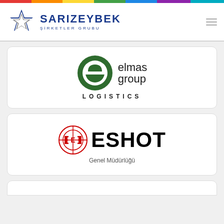[Figure (logo): Sarızeybek Şirketler Grubu logo with star emblem and company name in blue]
[Figure (logo): Elmas Group Logistics logo with green circular 'e' symbol]
[Figure (logo): ESHOT Genel Müdürlüğü logo with red circular emblem and bold ESHOT text]
[Figure (logo): Partially visible card at bottom of page (logo cut off)]